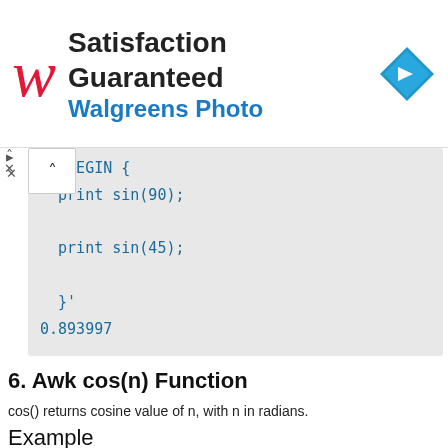[Figure (illustration): Walgreens Photo advertisement banner with red cursive W logo, 'Satisfaction Guaranteed' headline, 'Walgreens Photo' subtitle in blue, and blue diamond navigation icon on right.]
k 'BEGIN {
  print sin(90);
  print sin(45);
}'
0.893997
0.850904
6. Awk cos(n) Function
cos() returns cosine value of n, with n in radians.
Example
$ awk 'BEGIN {